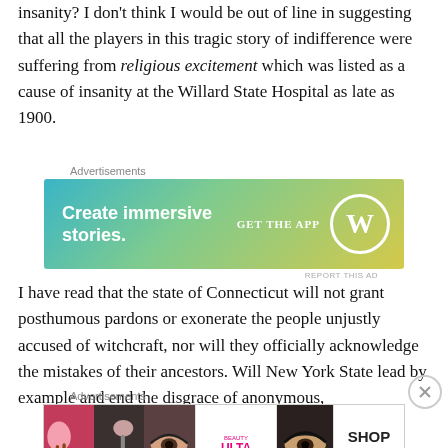insanity? I don't think I would be out of line in suggesting that all the players in this tragic story of indifference were suffering from religious excitement which was listed as a cause of insanity at the Willard State Hospital as late as 1900.
[Figure (screenshot): WordPress advertisement banner: 'Create immersive stories. GET THE APP' with WordPress logo circle on blue-green-yellow gradient background]
I have read that the state of Connecticut will not grant posthumous pardons or exonerate the people unjustly accused of witchcraft, nor will they officially acknowledge the mistakes of their ancestors. Will New York State lead by example and end the disgrace of anonymous,
[Figure (screenshot): ULTA Beauty advertisement banner showing close-up makeup photos with 'SHOP NOW' text]